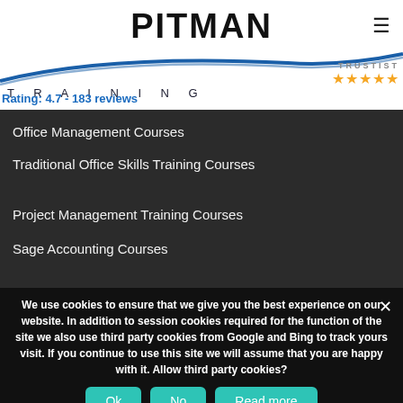[Figure (logo): Pitman Training logo with blue swoosh arc and TRAINING text, plus Trustist 5-star rating]
Rating: 4.7 - 183 reviews
Office Management Courses
Traditional Office Skills Training Courses
Project Management Training Courses
Sage Accounting Courses
We use cookies to ensure that we give you the best experience on our website. In addition to session cookies required for the function of the site we also use third party cookies from Google and Bing to track yours visit. If you continue to use this site we will assume that you are happy with it. Allow third party cookies?
Ok  No  Read more